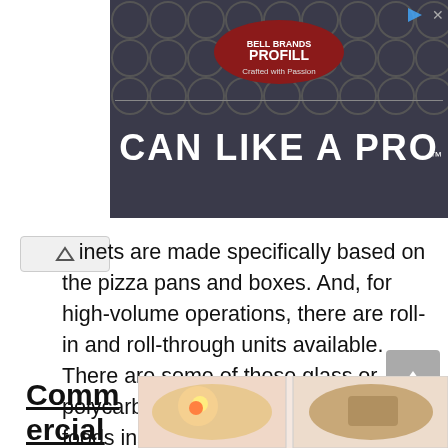[Figure (screenshot): Advertisement banner showing 'PROFILL - CAN LIKE A PRO' with metal can lids background]
binets are made specifically based on the pizza pans and boxes. And, for high-volume operations, there are roll-in and roll-through units available. There are some of these glass or polycarbonate doors for users to track foods inside. However, many are seen as insulated and energy-efficient. They have also minimized heat loss in the system. On the other hand, full-size holding cabinets may have full or half-size doors for users. It locates users the right balance to access.
Commercial
[Figure (photo): Two food photos showing bento-style meal containers at bottom right of page]